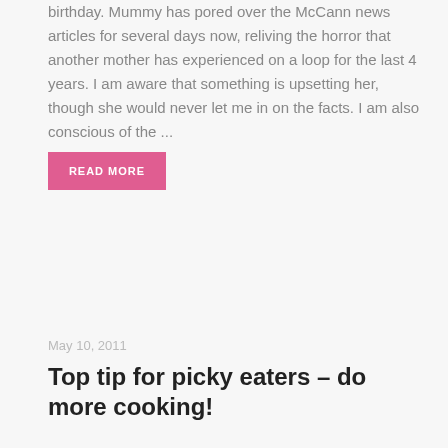birthday. Mummy has pored over the McCann news articles for several days now, reliving the horror that another mother has experienced on a loop for the last 4 years. I am aware that something is upsetting her, though she would never let me in on the facts. I am also conscious of the ...
READ MORE
May 10, 2011
Top tip for picky eaters – do more cooking!